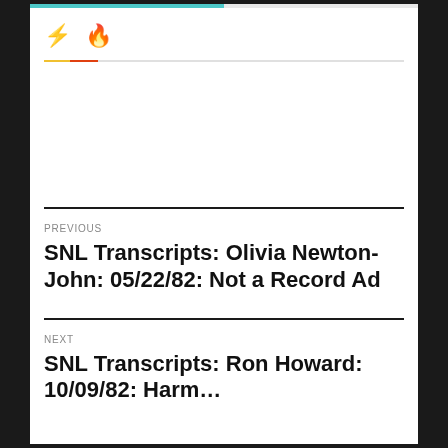⚡ 🔥
PREVIOUS
SNL Transcripts: Olivia Newton-John: 05/22/82: Not a Record Ad
NEXT
SNL Transcripts: Ron Howard: 10/09/82: Harm…